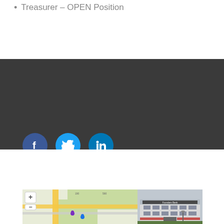Treasurer – OPEN Position
[Figure (illustration): Three social media icon circles: Facebook (dark blue), Twitter (light blue), LinkedIn (blue)]
[Figure (map): Google Maps view showing street map with yellow roads and a pin marker]
[Figure (photo): Exterior photo of a commercial office building with sign reading Founders Bank]